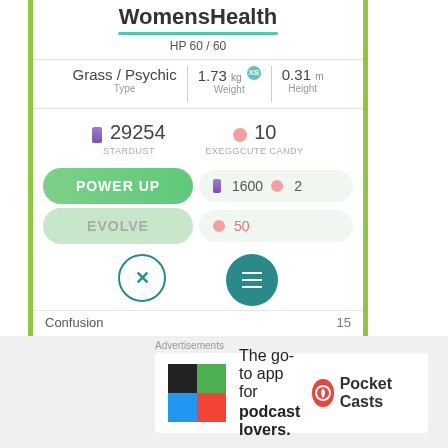[Figure (screenshot): Pokemon GO app screenshot showing a Exeggcute named WomensHealth with HP 60/60, Grass/Psychic type, 1.73kg weight, 0.31m height, 29254 stardust, 10 candy, Power Up button with 1600 stardust and 2 candy cost, Evolve button with 50 candy cost, action buttons, and Confusion move with 15 power]
Our eggs are mad and they’re not gonna take it anymore!
Advertisements
The go-to app for podcast lovers. Pocket Casts